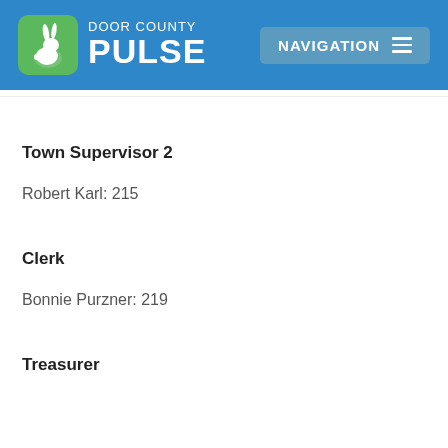[Figure (logo): Door County Pulse logo with green rabbit icon on blue header background, and Navigation button]
Town Supervisor 2
Robert Karl: 215
Clerk
Bonnie Purzner: 219
Treasurer